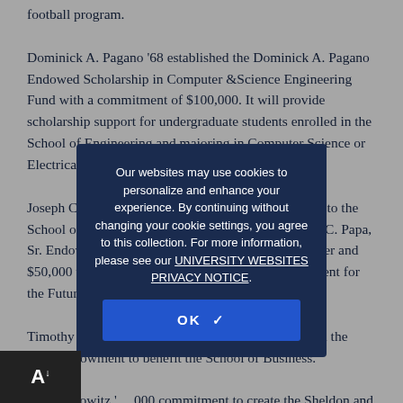football program.
Dominick A. Pagano '68 established the Dominick A. Pagano Endowed Scholarship in Computer &Science Engineering Fund with a commitment of $100,000. It will provide scholarship support for undergraduate students enrolled in the School of Engineering and majoring in Computer Science or Electrical Engineering.
Joseph C. Papa, Jr. '78 committed a total of $125,000 to the School of Pharmacy: $75,000 to establish the Joseph C. Papa, Sr. Endowed Scholarship Fund in memory of his father and $50,000 to support the School of Pharmacy Endowment for the Future.
Timothy K. Friar '80 has donated $54,000 to establish the Friar Endowment to benefit the School of Business.
on F. Kasowitz '   ,000 commitment to create the Sheldon and Samantha Kasowitz Academic
Our websites may use cookies to personalize and enhance your experience. By continuing without changing your cookie settings, you agree to this collection. For more information, please see our UNIVERSITY WEBSITES PRIVACY NOTICE.